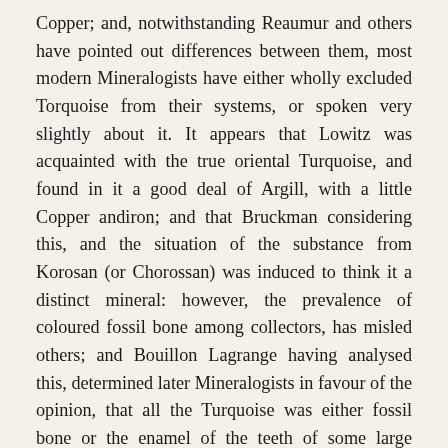Copper; and, notwithstanding Reaumur and others have pointed out differences between them, most modern Mineralogists have either wholly excluded Torquoise from their systems, or spoken very slightly about it. It appears that Lowitz was acquainted with the true oriental Turquoise, and found in it a good deal of Argill, with a little Copper andiron; and that Bruckman considering this, and the situation of the substance from Korosan (or Chorossan) was induced to think it a distinct mineral: however, the prevalence of coloured fossil bone among collectors, has misled others; and Bouillon Lagrange having analysed this, determined later Mineralogists in favour of the opinion, that all the Turquoise was either fossil bone or the enamel of the teeth of some large animal, coloured by Phosphate of Iron, and not Copper as had been previously supposed. Mr. Konig informs me that John has given the analysis of Turquoise, from Korosan, which confirms Bruckman's